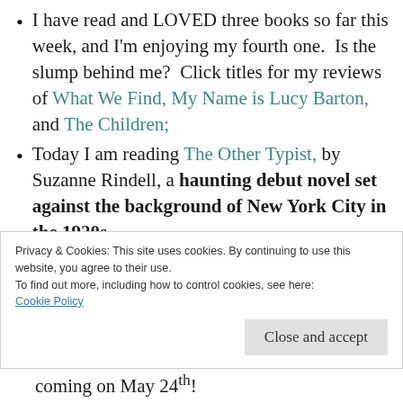I have read and LOVED three books so far this week, and I'm enjoying my fourth one.  Is the slump behind me?  Click titles for my reviews of What We Find, My Name is Lucy Barton, and The Children;
Today I am reading The Other Typist, by Suzanne Rindell, a haunting debut novel set against the background of New York City in the 1920s...
Speaking of Netflix earlier, I watched
Privacy & Cookies: This site uses cookies. By continuing to use this website, you agree to their use.
To find out more, including how to control cookies, see here:
Cookie Policy
Close and accept
coming on May 24th!